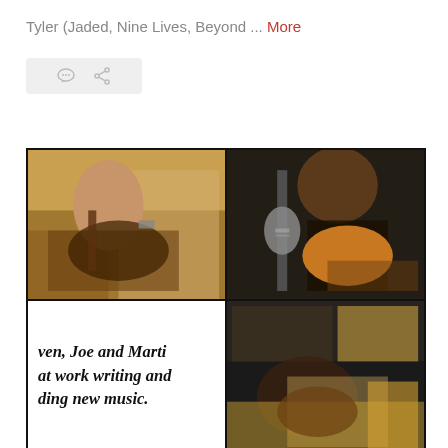Tyler (Jaded, Nine Lives, Beyond ... More
[Figure (illustration): Social sharing icons bar - comment bubble and share/reblog icons on a light gray background]
[Figure (photo): A 4-panel photo collage showing musicians (Steven, Joe and Marti) at work writing and recording new music. Top-left: person with long hair playing guitar on a couch. Top-right: person in dark jacket playing acoustic guitar near a microphone. Bottom-left: white panel with italic bold caption text reading 'ven, Joe and Marti at work writing and ding new music.' Bottom-right: person playing guitar in a living room setting.]